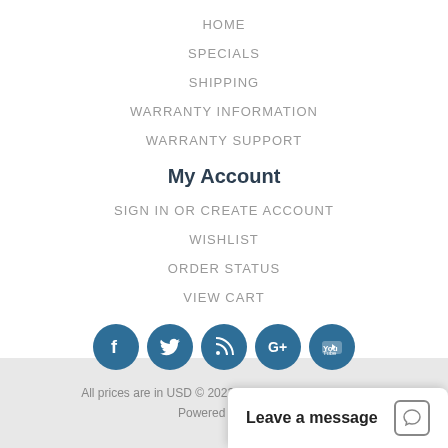HOME
SPECIALS
SHIPPING
WARRANTY INFORMATION
WARRANTY SUPPORT
My Account
SIGN IN OR CREATE ACCOUNT
WISHLIST
ORDER STATUS
VIEW CART
[Figure (illustration): Five circular social media icons: Facebook, Twitter, RSS, Google+, YouTube — all in dark teal/blue color]
All prices are in USD © 2022 Serverworlds. SITEMAP
Powered by ECC
Leave a message